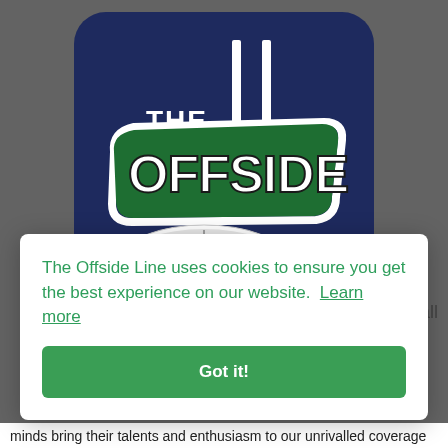[Figure (logo): The Offside Line logo: dark navy rounded rectangle background with large green and white bold text 'THE OFFSIDE LINE' with rugby goal posts integrated into the lettering and a rugby ball graphic]
The Offside Line uses cookies to ensure you get the best experience on our website.  Learn more
Got it!
minds bring their talents and enthusiasm to our unrivalled coverage